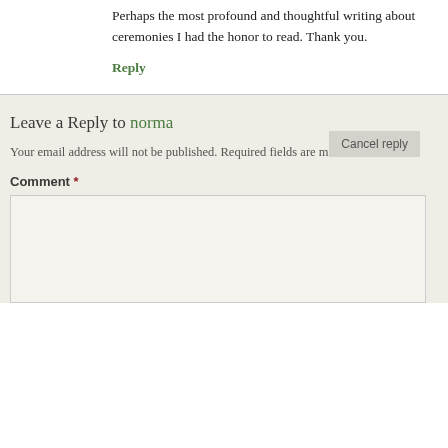Perhaps the most profound and thoughtful writing about ceremonies I had the honor to read. Thank you.
Reply
Leave a Reply to norma
Cancel reply
Your email address will not be published. Required fields are marked *
Comment *